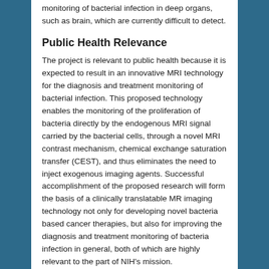monitoring of bacterial infection in deep organs, such as brain, which are currently difficult to detect.
Public Health Relevance
The project is relevant to public health because it is expected to result in an innovative MRI technology for the diagnosis and treatment monitoring of bacterial infection. This proposed technology enables the monitoring of the proliferation of bacteria directly by the endogenous MRI signal carried by the bacterial cells, through a novel MRI contrast mechanism, chemical exchange saturation transfer (CEST), and thus eliminates the need to inject exogenous imaging agents. Successful accomplishment of the proposed research will form the basis of a clinically translatable MR imaging technology not only for developing novel bacteria based cancer therapies, but also for improving the diagnosis and treatment monitoring of bacteria infection in general, both of which are highly relevant to the part of NIH's mission.